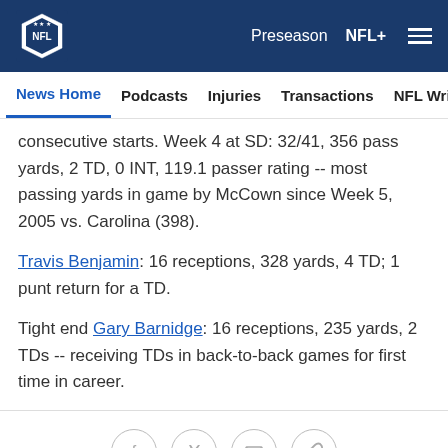NFL | Preseason NFL+
News Home  Podcasts  Injuries  Transactions  NFL Writers  Se
consecutive starts. Week 4 at SD: 32/41, 356 pass yards, 2 TD, 0 INT, 119.1 passer rating -- most passing yards in game by McCown since Week 5, 2005 vs. Carolina (398).
Travis Benjamin: 16 receptions, 328 yards, 4 TD; 1 punt return for a TD.
Tight end Gary Barnidge: 16 receptions, 235 yards, 2 TDs -- receiving TDs in back-to-back games for first time in career.
Facebook Twitter Email Link icons